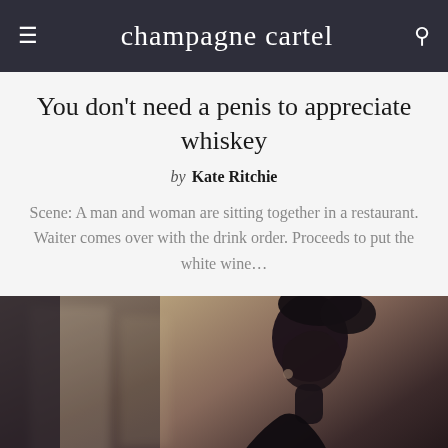champagne cartel
You don't need a penis to appreciate whiskey
by Kate Ritchie
Scene: A man and woman are sitting together in a restaurant. Waiter comes over with the drink order. Proceeds to put the white wine…
[Figure (photo): Blurry atmospheric photo of a woman's profile/silhouette with dark hair, viewed from behind in a dimly lit bar or lounge setting with warm and cool tones.]